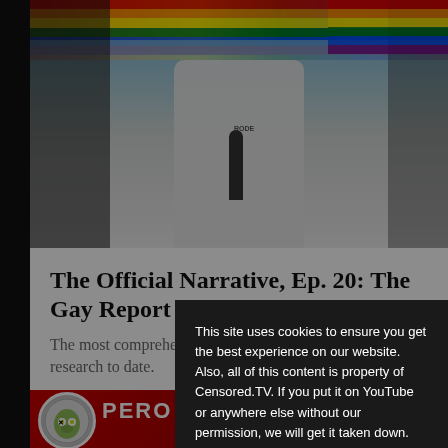[Figure (photo): Rally photo showing a person in a white hoodie with hands raised, surrounded by rainbow pride flags, with a RODE microphone visible in foreground. Crowd and buildings visible in background.]
The Official Narrative, Ep. 20: The Gay Report
The most comprehensive compendium of anti-gay research to date.
[Figure (photo): Partial view of a red image with a cartoon character featuring a swastika symbol, appears to be an anime-style pony character with yellow eyes. Bottom portion cut off.]
This site uses cookies to ensure you get the best experience on our website. Also, all of this content is property of Censored.TV. If you put it on YouTube or anywhere else without our permission, we will get it taken down.  Learn more
I understand!